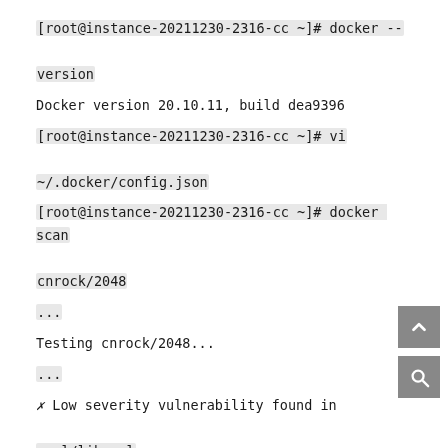[root@instance-20211230-2316-cc ~]# docker --version
Docker version 20.10.11, build dea9396
[root@instance-20211230-2316-cc ~]# vi ~/.docker/config.json
[root@instance-20211230-2316-cc ~]# docker scan cnrock/2048
...
Testing cnrock/2048...
...
✗ Low severity vulnerability found in curl/libcurl
Description: Use of Incorrectly-Resolved Name or Reference